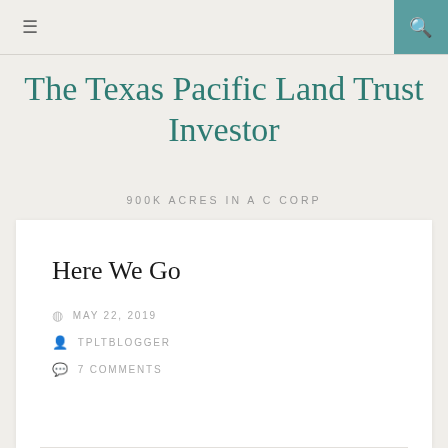≡  🔍
The Texas Pacific Land Trust Investor
900K ACRES IN A C CORP
Here We Go
MAY 22, 2019
TPLTBLOGGER
7 COMMENTS